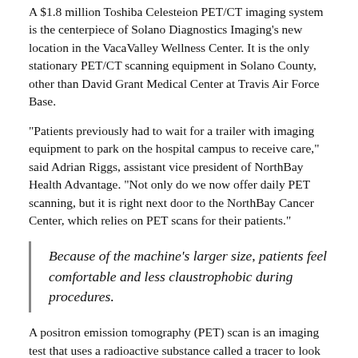A $1.8 million Toshiba Celesteion PET/CT imaging system is the centerpiece of Solano Diagnostics Imaging's new location in the VacaValley Wellness Center. It is the only stationary PET/CT scanning equipment in Solano County, other than David Grant Medical Center at Travis Air Force Base.
“Patients previously had to wait for a trailer with imaging equipment to park on the hospital campus to receive care,” said Adrian Riggs, assistant vice president of NorthBay Health Advantage. “Not only do we now offer daily PET scanning, but it is right next door to the NorthBay Cancer Center, which relies on PET scans for their patients.”
Because of the machine’s larger size, patients feel comfortable and less claustrophobic during procedures.
A positron emission tomography (PET) scan is an imaging test that uses a radioactive substance called a tracer to look for disease in the body. The new scanner includes Toshiba’s AIDR 3D technology that helps reduce the radiation dose needed by patients.
A PET scan shows how organs and tissues are working by measuring